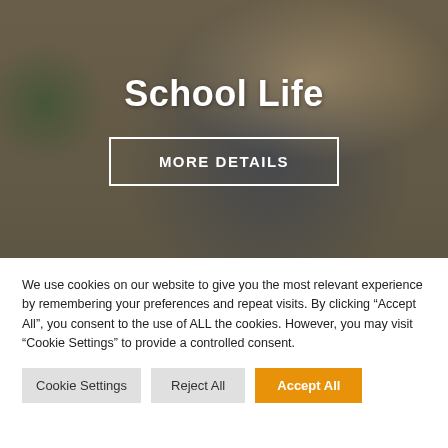[Figure (photo): Child holding a small animal outdoors, serving as a hero background image for a School Life section]
School Life
MORE DETAILS
We use cookies on our website to give you the most relevant experience by remembering your preferences and repeat visits. By clicking “Accept All”, you consent to the use of ALL the cookies. However, you may visit "Cookie Settings" to provide a controlled consent.
Cookie Settings | Reject All | Accept All